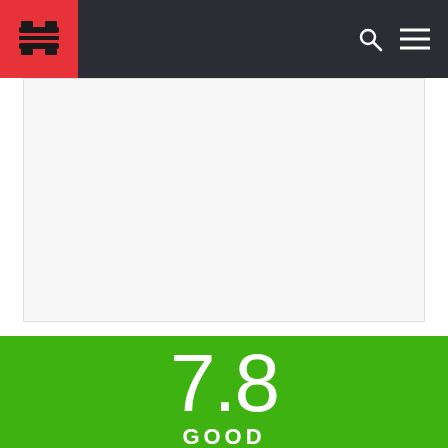[Figure (screenshot): Article header image area (light gray/white, partially visible)]
The Artful Escape Review: The Rise and Fall of Francis Vendetti (PC)
Tags: Escape Doodland
[Figure (infographic): Score box showing 7.8 GOOD in green background]